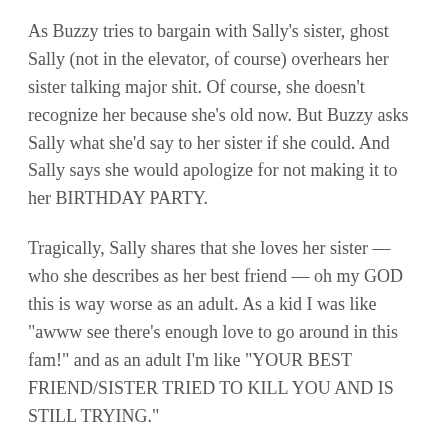As Buzzy tries to bargain with Sally's sister, ghost Sally (not in the elevator, of course) overhears her sister talking major shit. Of course, she doesn't recognize her because she's old now. But Buzzy asks Sally what she'd say to her sister if she could. And Sally says she would apologize for not making it to her BIRTHDAY PARTY.
Tragically, Sally shares that she loves her sister — who she describes as her best friend — oh my GOD this is way worse as an adult. As a kid I was like "awww see there's enough love to go around in this fam!" and as an adult I'm like "YOUR BEST FRIEND/SISTER TRIED TO KILL YOU AND IS STILL TRYING."
[Figure (photo): Broken image placeholder labeled 'Tower of Terror | Disney Movies']
The good news is: Sally's sister profusely apologizes.